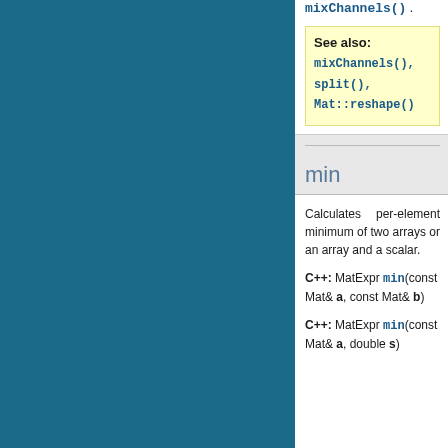mixChannels() .
See also: mixChannels(), split(), Mat::reshape()
min
Calculates per-element minimum of two arrays or an array and a scalar.
C++: MatExpr min(const Mat& a, const Mat& b)
C++: MatExpr min(const Mat& a, double s)